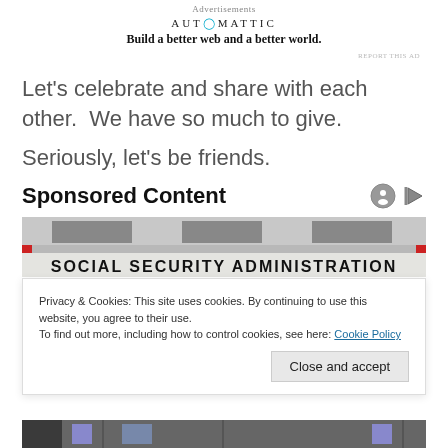Advertisements
[Figure (logo): Automattic logo with tagline: Build a better web and a better world.]
REPORT THIS AD
Let's celebrate and share with each other.  We have so much to give.
Seriously, let's be friends.
Sponsored Content
[Figure (photo): Photo of Social Security Administration building exterior with sign reading SOCIAL SECURITY ADMINISTRATION]
Privacy & Cookies: This site uses cookies. By continuing to use this website, you agree to their use.
To find out more, including how to control cookies, see here: Cookie Policy
[Figure (photo): Bottom strip showing partial view of a building exterior]